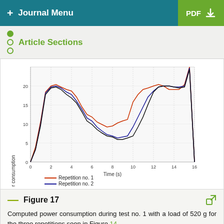+ Journal Menu | PDF
Article Sections
[Figure (line-chart): Line chart showing computed power consumption over time (0–16 s) for three repetitions. Three lines: red (Repetition no. 1), blue (Repetition no. 2), black (Repetition no. 3). Y-axis from 0 to ~25, with labels at 0, 5, 10, 15, 20. Peaks around 20–25 near t=1-3 and t=11-16, dip to near 0 around t=7-8.]
Figure 17
Computed power consumption during test no. 1 with a load of 520 g for the three repetitions seen in Figure 14.
Test no. 2 has been carried out without load during three repetitions. In Figure 18 are shown some snapshots of NURSE when it is performing repetition no. 1 together with the trajectory